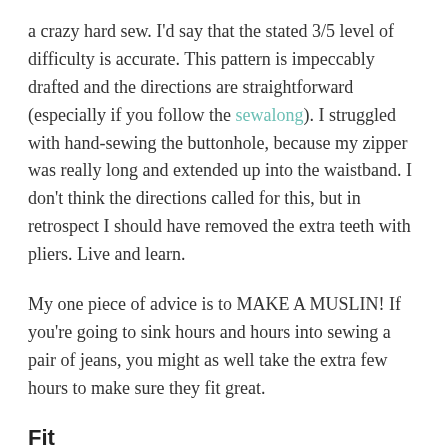a crazy hard sew. I'd say that the stated 3/5 level of difficulty is accurate. This pattern is impeccably drafted and the directions are straightforward (especially if you follow the sewalong). I struggled with hand-sewing the buttonhole, because my zipper was really long and extended up into the waistband. I don't think the directions called for this, but in retrospect I should have removed the extra teeth with pliers. Live and learn.
My one piece of advice is to MAKE A MUSLIN! If you're going to sink hours and hours into sewing a pair of jeans, you might as well take the extra few hours to make sure they fit great.
Fit